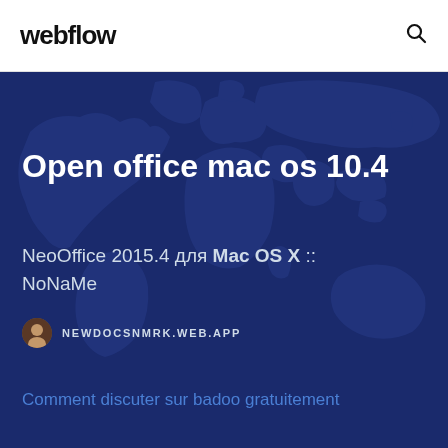webflow
Open office mac os 10.4
NeoOffice 2015.4 для Mac OS X :: NoNaMe
NEWDOCSNMRK.WEB.APP
Comment discuter sur badoo gratuitement